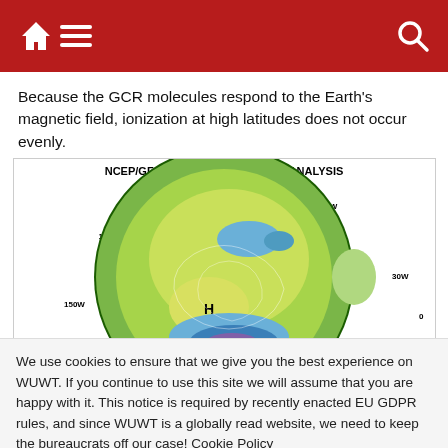Navigation bar with home, menu, and search icons
Because the GCR molecules respond to the Earth’s magnetic field, ionization at high latitudes does not occur evenly.
[Figure (map): NCEP/GFS 50-hPa TEMPERATURE ANALYSIS for the Southern Hemisphere, showing a polar projection with color-coded temperature fields. Labels: 90W, 60W, 30W, 0, 150W, 120W. An 'H' marks a high pressure region. Colors range from purple/blue (cold) in the center-south to yellow-green and green around the edges.]
We use cookies to ensure that we give you the best experience on WUWT. If you continue to use this site we will assume that you are happy with it. This notice is required by recently enacted EU GDPR rules, and since WUWT is a globally read website, we need to keep the bureaucrats off our case! Cookie Policy
Close and accept